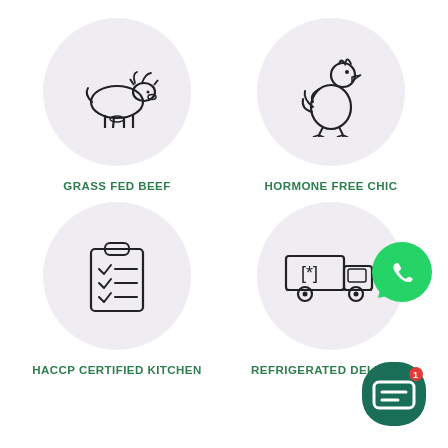[Figure (infographic): Grid of four feature icons: Grass Fed Beef (cow icon in circle), Hormone Free Chicken (chicken icon in circle), HACCP Certified Kitchen (clipboard icon in circle), Refrigerated Delivery (refrigerated truck icon in circle). WhatsApp button overlay top-right. Chat button overlay bottom-right.]
GRASS FED BEEF
HORMONE FREE CHIC
HACCP CERTIFIED KITCHEN
REFRIGERATED DELIVERY